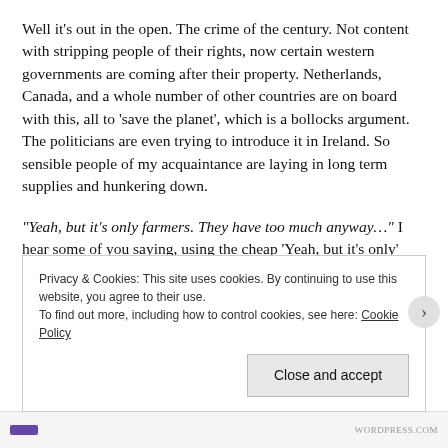Well it's out in the open. The crime of the century. Not content with stripping people of their rights, now certain western governments are coming after their property. Netherlands, Canada, and a whole number of other countries are on board with this, all to 'save the planet', which is a bollocks argument. The politicians are even trying to introduce it in Ireland. So sensible people of my acquaintance are laying in long term supplies and hunkering down.
“Yeah, but it’s only farmers. They have too much anyway…” I hear some of you saying, using the cheap ‘Yeah, but it’s only’ argument. The problem with this is that sooner or later those using this argument run out of people to rob and everyone
Privacy & Cookies: This site uses cookies. By continuing to use this website, you agree to their use. To find out more, including how to control cookies, see here: Cookie Policy
Close and accept